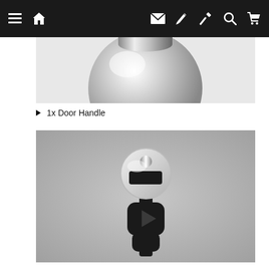Navigation bar with menu, home, mail, edit, tools, search, cart icons
[Figure (photo): Close-up product photo of a chrome/silver spherical door handle knob against a white/grey background, partially cropped from top]
1x Door Handle
[Figure (photo): Product photo of a door bolt/lock mechanism with chrome disc and black handle component against a grey background]
2x Door Bolt (partially visible at bottom)